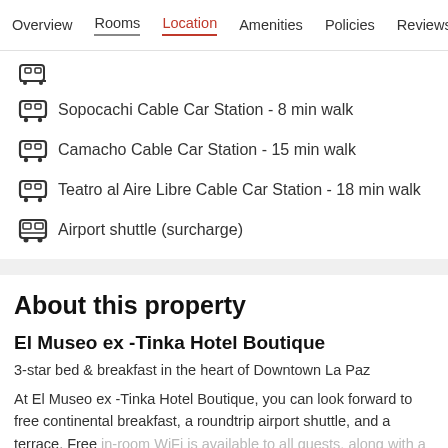Overview  Rooms  Location  Amenities  Policies  Reviews
Sopocachi Cable Car Station - 8 min walk
Camacho Cable Car Station - 15 min walk
Teatro al Aire Libre Cable Car Station - 18 min walk
Airport shuttle (surcharge)
About this property
El Museo ex -Tinka Hotel Boutique
3-star bed & breakfast in the heart of Downtown La Paz
At El Museo ex -Tinka Hotel Boutique, you can look forward to free continental breakfast, a roundtrip airport shuttle, and a terrace. Free in-room WiFi is available to all guests, along with a coffee shop/cafe and a garden.